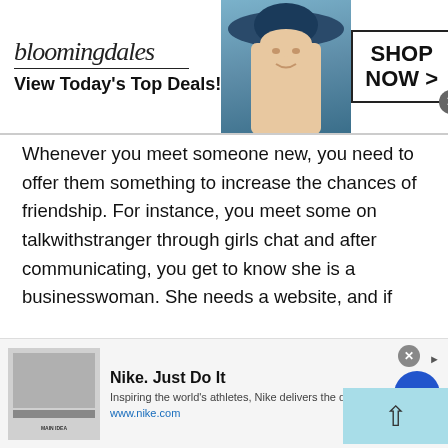[Figure (infographic): Bloomingdale's advertisement banner with logo, 'View Today's Top Deals!' text, model with wide-brim hat, and 'SHOP NOW >' button]
Whenever you meet someone new, you need to offer them something to increase the chances of friendship. For instance, you meet some on talkwithstranger through girls chat and after communicating, you get to know she is a businesswoman. She needs a website, and if you know a good web designer, all you have to do is refer her to that web designer, and in return, there are chances that she will contact you again because you have done well for her. However, don't start to expect straight away after helping them; instead, try to be as helpful as you can; if the friendship starts, it's a bonus.
[Figure (infographic): Nike advertisement with logo image, 'Nike. Just Do It' title, 'Inspiring the world's athletes, Nike delivers the deals' subtitle, www.nike.com URL, and circular arrow button]